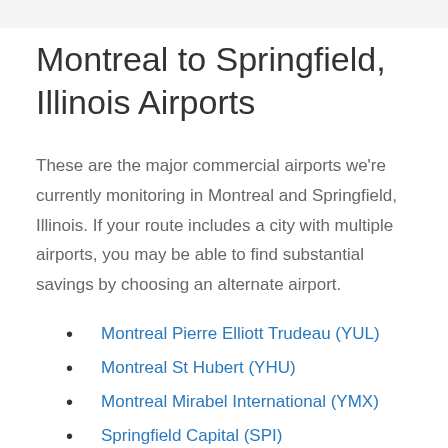Montreal to Springfield, Illinois Airports
These are the major commercial airports we're currently monitoring in Montreal and Springfield, Illinois. If your route includes a city with multiple airports, you may be able to find substantial savings by choosing an alternate airport.
Montreal Pierre Elliott Trudeau (YUL)
Montreal St Hubert (YHU)
Montreal Mirabel International (YMX)
Springfield Capital (SPI)